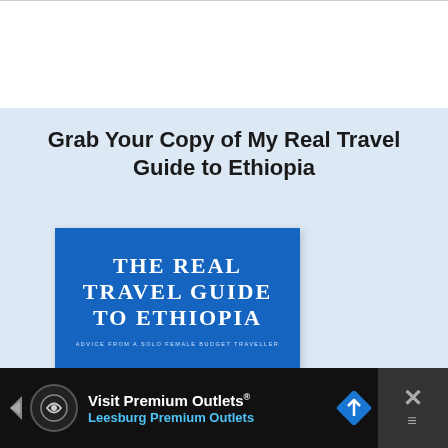Grab Your Copy of My Real Travel Guide to Ethiopia
[Figure (illustration): Book cover for 'The Real Travel Guide to Ethiopia - Advice from a Solo Female Budget Traveller'. Blue background with white serif text and a silhouette at the bottom.]
[Figure (infographic): Advertisement bar at the bottom: Visit Premium Outlets® / Leesburg Premium Outlets, with a black background, circular logo, blue navigation arrow icon, and an X close button on the right.]